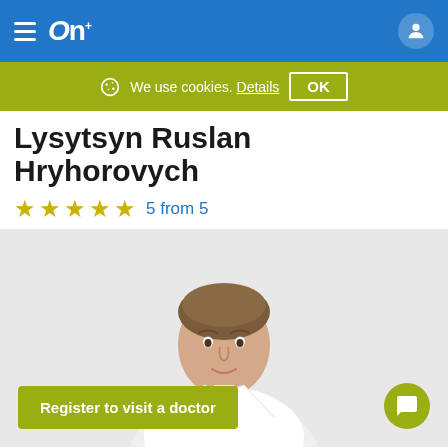Navigation bar with hamburger menu, OnlineMed+ logo, and user account icon
We use cookies. Details OK
Lysytsyn Ruslan Hryhorovych
5 from 5
[Figure (photo): Doctor portrait photo: man in white coat, light background]
Register to visit a doctor